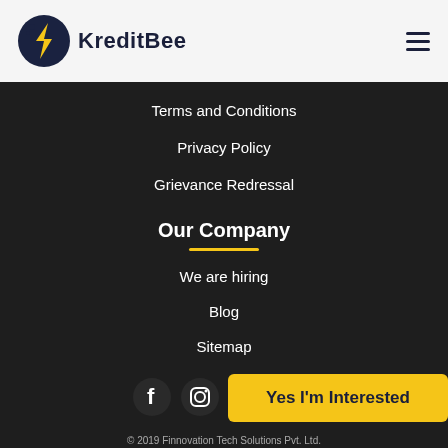KreditBee
Terms and Conditions
Privacy Policy
Grievance Redressal
Our Company
We are hiring
Blog
Sitemap
[Figure (illustration): Social media icons: Facebook, Instagram, Twitter, YouTube]
Yes I'm Interested
© 2019 Finnovation Tech Solutions Pvt. Ltd.